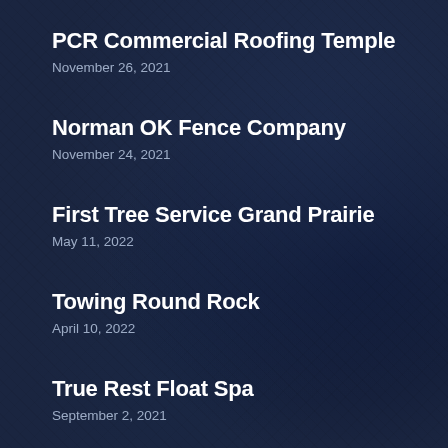PCR Commercial Roofing Temple
November 26, 2021
Norman OK Fence Company
November 24, 2021
First Tree Service Grand Prairie
May 11, 2022
Towing Round Rock
April 10, 2022
True Rest Float Spa
September 2, 2021